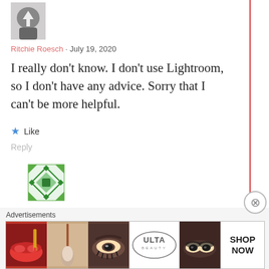[Figure (photo): Avatar image of Ritchie Roesch - partial person photo with up arrow overlay]
Ritchie Roesch · July 19, 2020
I really don't know. I don't use Lightroom, so I don't have any advice. Sorry that I can't be more helpful.
★ Like
Reply
[Figure (illustration): Green geometric pattern avatar for user sarimner0]
sarimner0 · July 23, 2020
you can try those!
Advertisements
[Figure (infographic): ULTA Beauty advertisement banner showing makeup imagery and SHOP NOW text]